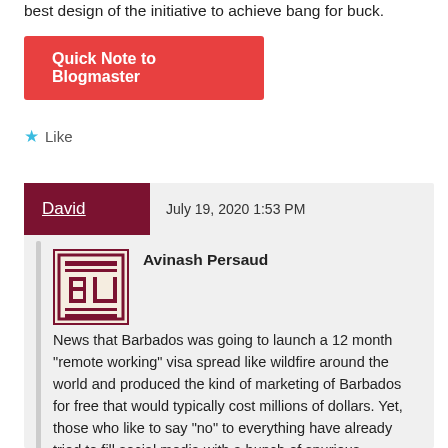best design of the initiative to achieve bang for buck.
Quick Note to Blogmaster
Like
David   July 19, 2020 1:53 PM
[Figure (logo): BU logo — red and cream square logo with stylized BU letters and horizontal lines]
Avinash Persaud
News that Barbados was going to launch a 12 month "remote working" visa spread like wildfire around the world and produced the kind of marketing of Barbados for free that would typically cost millions of dollars. Yet, those who like to say "no" to everything have already tried to fill social media with a bunch of spurious criticisms. I shall try to correct a few here, in the order of most